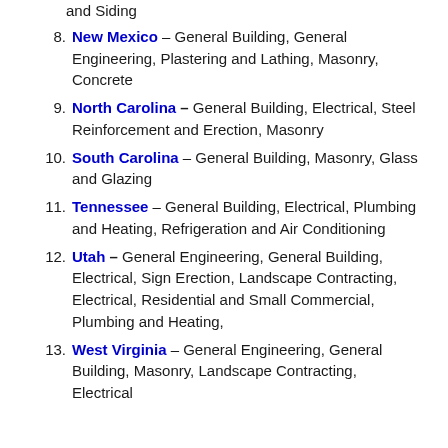(continuation) and Siding
8. New Mexico – General Building, General Engineering, Plastering and Lathing, Masonry, Concrete
9. North Carolina – General Building, Electrical, Steel Reinforcement and Erection, Masonry
10. South Carolina – General Building, Masonry, Glass and Glazing
11. Tennessee – General Building, Electrical, Plumbing and Heating, Refrigeration and Air Conditioning
12. Utah – General Engineering, General Building, Electrical, Sign Erection, Landscape Contracting, Electrical, Residential and Small Commercial, Plumbing and Heating,
13. West Virginia – General Engineering, General Building, Masonry, Landscape Contracting, Electrical